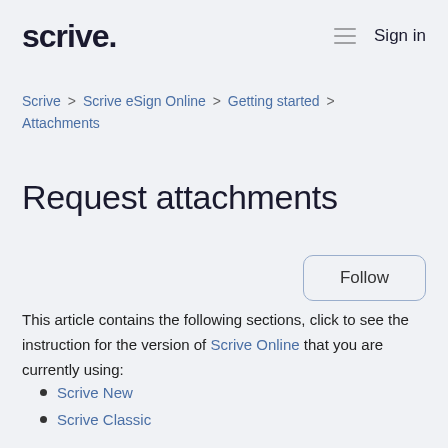scrive. Sign in
Scrive > Scrive eSign Online > Getting started > Attachments
Request attachments
Follow
This article contains the following sections, click to see the instruction for the version of Scrive Online that you are currently using:
Scrive New
Scrive Classic